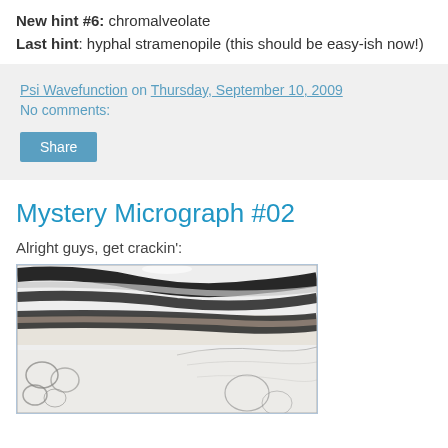New hint #6: chromalveolate
Last hint: hyphal stramenopile (this should be easy-ish now!)
Psi Wavefunction on Thursday, September 10, 2009
No comments:
Mystery Micrograph #02
Alright guys, get crackin':
[Figure (photo): Microscope micrograph showing dark-stained hyphal stramenopile structures with layered filaments against a light background]